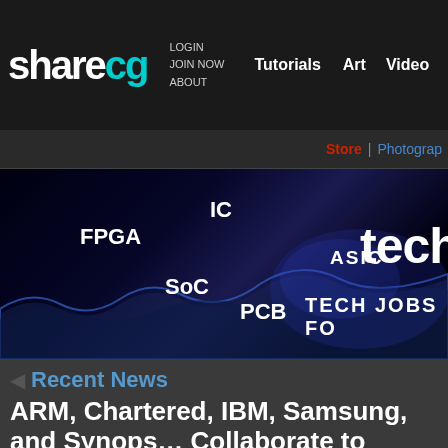[Figure (screenshot): ShareCG website navigation bar with logo 'sharecg' in white and cyan, nav links LOGIN, JOIN NOW, ABOUT, and menu items Tutorials, Art, Video, 3D Mo...]
[Figure (screenshot): Dark secondary nav bar with Store link in red and Photograp... link in blue]
[Figure (banner): Tech jobs banner with dark background showing FPGA, IC, SoC, ASIC, PCB keywords and 'techjo' and 'TECH JOBS FO' text in white]
Recent News
ARM, Chartered, IBM, Samsung, and Synops... Collaborate to Deliver Vertically Optimized Solution for 32/28nm Mobile SoC Designs
Companies combine low-power processor architecture, integrated design f... and system-level IP on Common Platform foundry process
SAN FRANCISCO, July 27 /PRNewswire-FirstCall/ -- In a move that addresses fundamental challenges in creating advanced systems-on-chips (SoCs), ARM f...